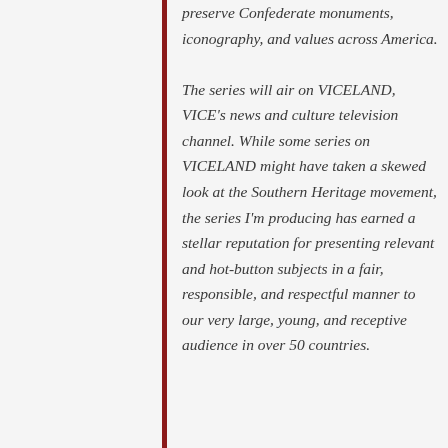preserve Confederate monuments, iconography, and values across America. The series will air on VICELAND, VICE's news and culture television channel. While some series on VICELAND might have taken a skewed look at the Southern Heritage movement, the series I'm producing has earned a stellar reputation for presenting relevant and hot-button subjects in a fair, responsible, and respectful manner to our very large, young, and receptive audience in over 50 countries.